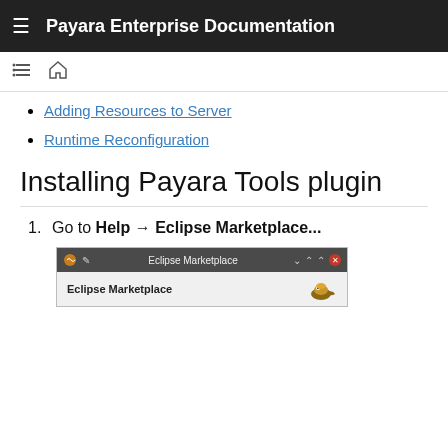Payara Enterprise Documentation
Adding Resources to Server
Runtime Reconfiguration
Installing Payara Tools plugin
1. Go to Help → Eclipse Marketplace...
[Figure (screenshot): Eclipse Marketplace dialog window screenshot showing the title bar with Eclipse Marketplace label and the Eclipse Marketplace panel header with a fish icon]